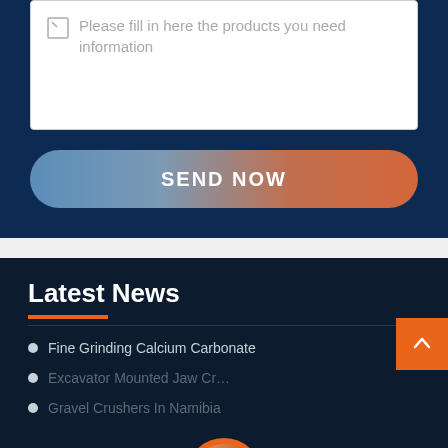Please fill in here the products you need information
SEND NOW
Latest News
Fine Grinding Calcium Carbonate
Excavator Mounted Jaw Cr...
Gravel Crushers In Namibia
Leave Message
Chat Online